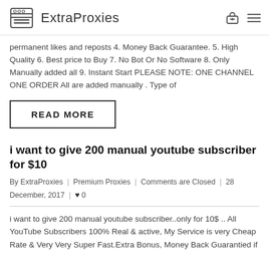ExtraProxies
permanent likes and reposts 4. Money Back Guarantee. 5. High Quality 6. Best price to Buy 7. No Bot Or No Software 8. Only Manually added all 9. Instant Start PLEASE NOTE: ONE CHANNEL ONE ORDER All are added manually . Type of
READ MORE
i want to give 200 manual youtube subscriber for $10
By ExtraProxies | Premium Proxies | Comments are Closed | 28 December, 2017 | ♥ 0
i want to give 200 manual youtube subscriber..only for 10$ .. All YouTube Subscribers 100% Real & active, My Service is very Cheap Rate & Very Very Super Fast.Extra Bonus, Money Back Guarantied if